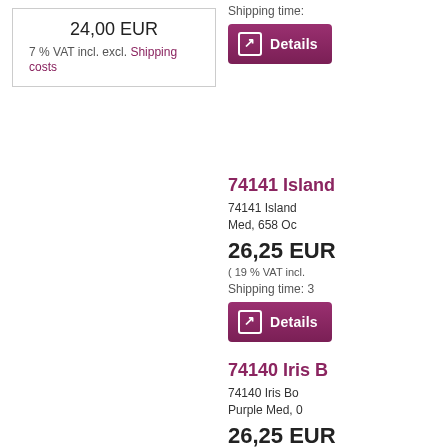24,00 EUR
7 % VAT incl. excl. Shipping costs
Shipping time:
Details
74141 Island
74141 Island Med, 658 Oc
26,25 EUR
( 19 % VAT incl.
Shipping time: 3
Details
74140 Iris B
74140 Iris Bo Purple Med, 0
26,25 EUR
( 19 % VAT incl.
Shipping time: 3
Details